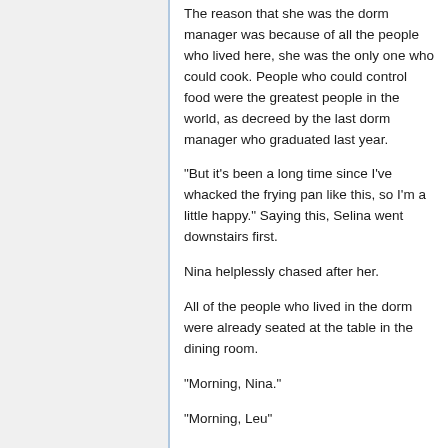The reason that she was the dorm manager was because of all the people who lived here, she was the only one who could cook. People who could control food were the greatest people in the world, as decreed by the last dorm manager who graduated last year.
"But it's been a long time since I've whacked the frying pan like this, so I'm a little happy." Saying this, Selina went downstairs first.
Nina helplessly chased after her.
All of the people who lived in the dorm were already seated at the table in the dining room.
"Morning, Nina."
"Morning, Leu"
The person who called out to Nina was